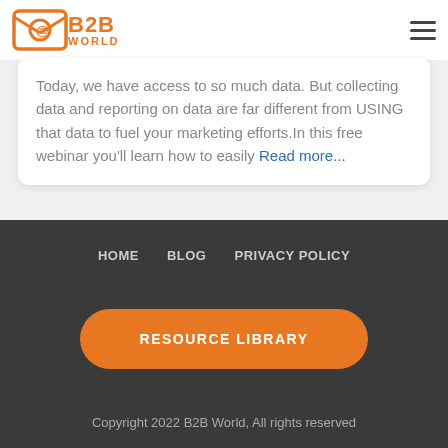[Figure (logo): B2B World logo with orange envelope/at-sign icon and orange text 'B2B WORLD']
Today, we have access to so much data. But collecting data and reporting on data are far different from USING that data to fuel your marketing efforts.In this free webinar you'll learn how to easily Read more...
HOME   BLOG   PRIVACY POLICY
RESOURCE LIBRARY
Copyright 2022 B2B World, All rights reserved